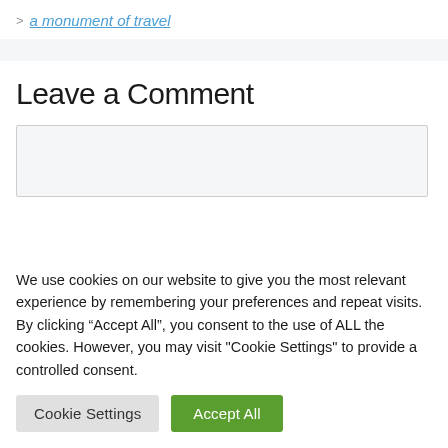> a monument of travel
Leave a Comment
We use cookies on our website to give you the most relevant experience by remembering your preferences and repeat visits. By clicking “Accept All”, you consent to the use of ALL the cookies. However, you may visit "Cookie Settings" to provide a controlled consent.
Cookie Settings | Accept All